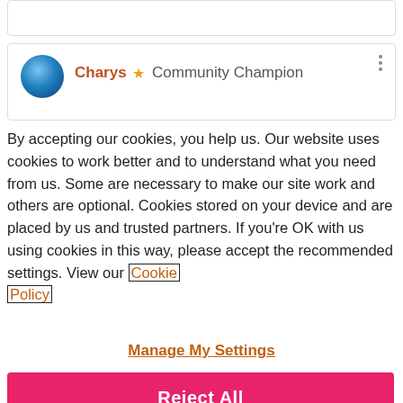[Figure (screenshot): Partial top card with truncated text, light gray border]
Charys ⭐ Community Champion
By accepting our cookies, you help us. Our website uses cookies to work better and to understand what you need from us. Some are necessary to make our site work and others are optional. Cookies stored on your device and are placed by us and trusted partners. If you're OK with us using cookies in this way, please accept the recommended settings. View our Cookie Policy
Manage My Settings
Reject All
Accept All Cookies